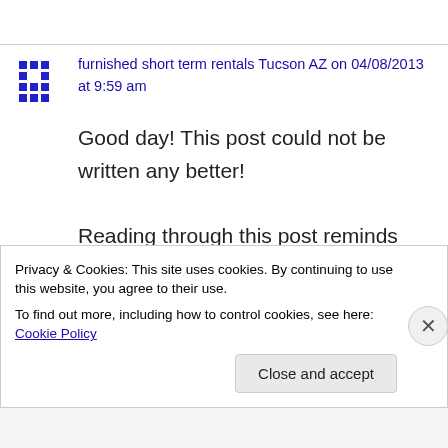furnished short term rentals Tucson AZ on 04/08/2013 at 9:59 am
Good day! This post could not be written any better!
Reading through this post reminds me of my previous
room mate! He always kept chatting about this. I
Privacy & Cookies: This site uses cookies. By continuing to use this website, you agree to their use.
To find out more, including how to control cookies, see here: Cookie Policy
Close and accept